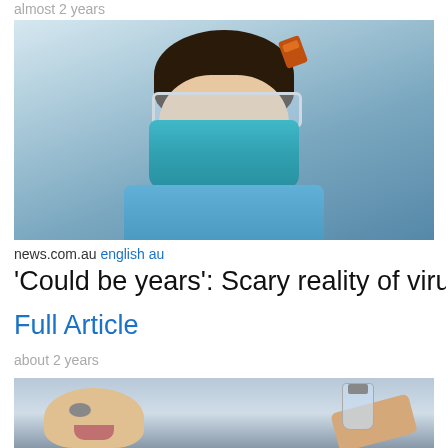almost 2 years
[Figure (photo): Healthcare worker wearing a blue surgical mask, protective goggles, and blue protective gown, looking downward]
news.com.au english au
'Could be years': Scary reality of virus
Full Article
about 2 years
[Figure (photo): Child receiving oral drops/vaccine from an adult's hands]